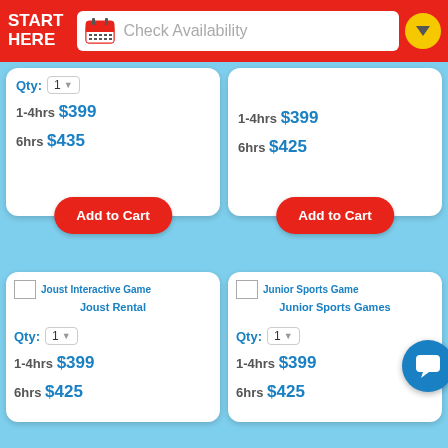START HERE | Check Availability
Qty: 1
1-4hrs $399
6hrs $435
1-4hrs $399
6hrs $425
Add to Cart
Add to Cart
Joust Interactive Game
Joust Rental
Junior Sports Game
Junior Sports Games
Qty: 1
1-4hrs $399
6hrs $425
Qty: 1
1-4hrs $399
6hrs $425